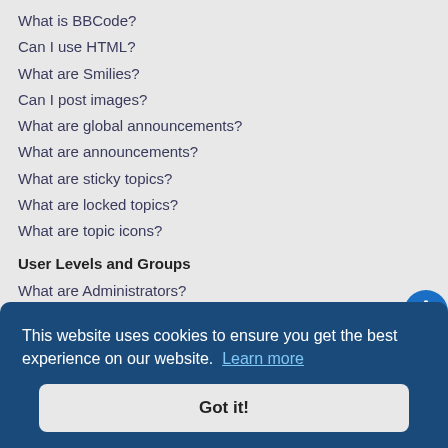What is BBCode?
Can I use HTML?
What are Smilies?
Can I post images?
What are global announcements?
What are announcements?
What are sticky topics?
What are locked topics?
What are topic icons?
User Levels and Groups
What are Administrators?
What are Moderators?
What are usergroups?
Where are the usergroups and how do I join one?
How do I become a usergroup leader?
Why do some usergroups appear in a different colour?
Private Messaging
I cannot send private messages
I keep getting unwanted private messages
I have received a spamming or abusive email from someone on this board!
Friends and Foes
This website uses cookies to ensure you get the best experience on our website. Learn more
Got it!